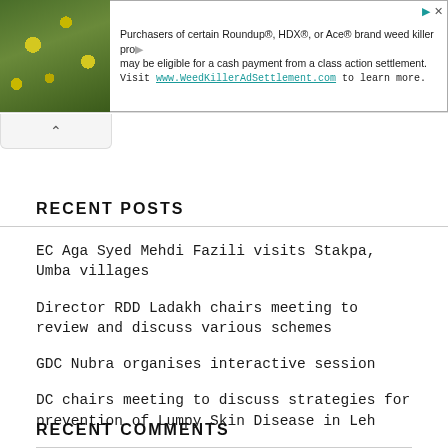[Figure (screenshot): Advertisement banner for Roundup, HDX, or Ace brand weed killer class action settlement. Contains plant/foliage image on left and text on right: 'Purchasers of certain Roundup®, HDX®, or Ace® brand weed killer products may be eligible for a cash payment from a class action settlement. Visit www.WeedKillerAdSettlement.com to learn more.']
RECENT POSTS
EC Aga Syed Mehdi Fazili visits Stakpa, Umba villages
Director RDD Ladakh chairs meeting to review and discuss various schemes
GDC Nubra organises interactive session
DC chairs meeting to discuss strategies for prevention of Lumpy Skin Disease in Leh
Ladakh to host UCI MTB Eliminator World Cup on Sept 4
RECENT COMMENTS